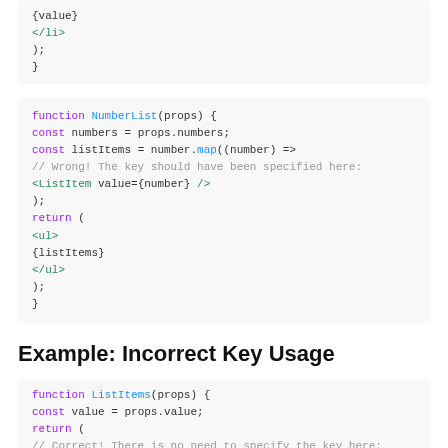Code block (top): {value} </li> ); }
Code block: function NumberList(props) { const numbers = props.numbers; const listItems = number.map((number) => // Wrong! The key should have been specified here: <ListItem value={number} /> ); return ( <ul> {listItems} </ul> ); }
Example: Incorrect Key Usage
Code block: function ListItems(props) { const value = props.value; return ( // Correct! There is no need to specify the key here: <li>